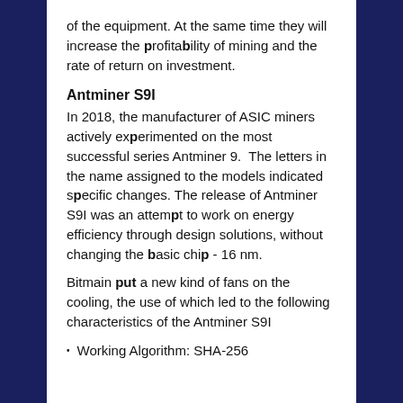of the equipment. At the same time they will increase the profitability of mining and the rate of return on investment.
Antminer S9I
In 2018, the manufacturer of ASIC miners actively experimented on the most successful series Antminer 9.  The letters in the name assigned to the models indicated specific changes. The release of Antminer S9I was an attempt to work on energy efficiency through design solutions, without changing the basic chip - 16 nm.
Bitmain put a new kind of fans on the cooling, the use of which led to the following characteristics of the Antminer S9I
Working Algorithm: SHA-256